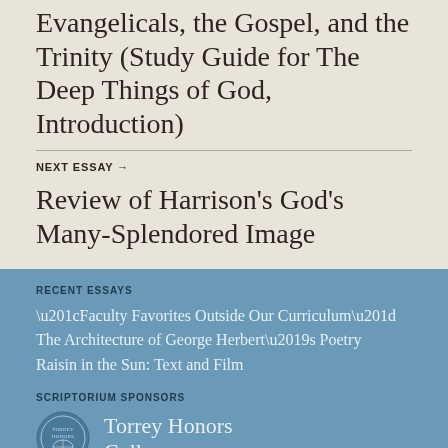Evangelicals, the Gospel, and the Trinity (Study Guide for The Deep Things of God, Introduction)
NEXT ESSAY →
Review of Harrison's God's Many-Splendored Image
RECENT ESSAYS
“Faculty Favorites Outside Our Curriculum”
The Architecture of George Herbert’s Poetry
Raisin in the Sun: Text and Film
SCRIPTORIUM SPONSORS
Torrey Honors College